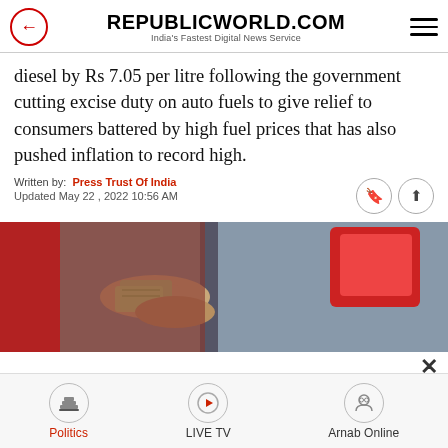REPUBLICWORLD.COM — India's Fastest Digital News Service
diesel by Rs 7.05 per litre following the government cutting excise duty on auto fuels to give relief to consumers battered by high fuel prices that has also pushed inflation to record high.
Written by: Press Trust Of India
Updated May 22 , 2022 10:56 AM
[Figure (photo): A person handing cash money at what appears to be a fuel station, with a red car tail light visible in the background.]
Politics | LIVE TV | Arnab Online